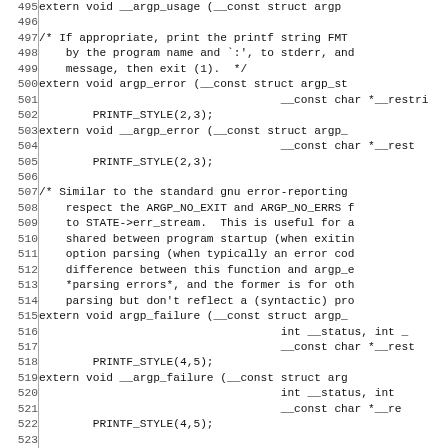Code listing showing C header file declarations for argp functions, lines 495-524